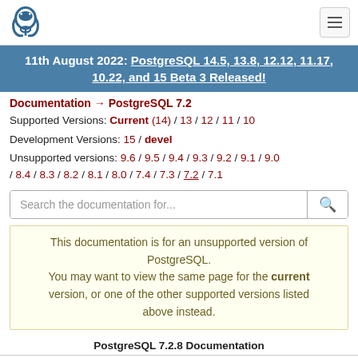PostgreSQL logo and navigation
11th August 2022: PostgreSQL 14.5, 13.8, 12.12, 11.17, 10.22, and 15 Beta 3 Released!
Documentation → PostgreSQL 7.2
Supported Versions: Current (14) / 13 / 12 / 11 / 10
Development Versions: 15 / devel
Unsupported versions: 9.6 / 9.5 / 9.4 / 9.3 / 9.2 / 9.1 / 9.0 / 8.4 / 8.3 / 8.2 / 8.1 / 8.0 / 7.4 / 7.3 / 7.2 / 7.1
This documentation is for an unsupported version of PostgreSQL. You may want to view the same page for the current version, or one of the other supported versions listed above instead.
PostgreSQL 7.2.8 Documentation
Prev    Chapter 6. ecpg - Embedded SQL in C    Next